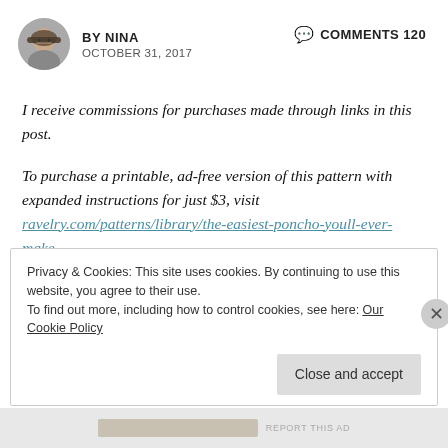BY NINA   OCTOBER 31, 2017   COMMENTS 120
I receive commissions for purchases made through links in this post.
To purchase a printable, ad-free version of this pattern with expanded instructions for just $3, visit ravelry.com/patterns/library/the-easiest-poncho-youll-ever-make.
Privacy & Cookies: This site uses cookies. By continuing to use this website, you agree to their use.
To find out more, including how to control cookies, see here: Our Cookie Policy
Close and accept